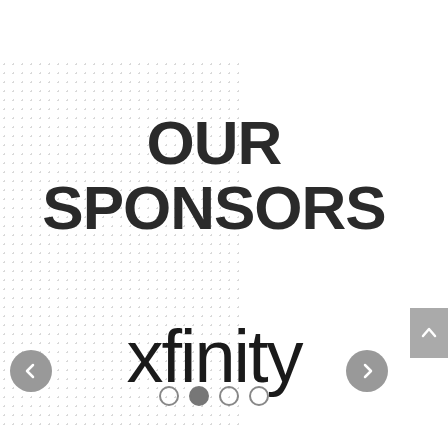[Figure (illustration): Decorative dot pattern background on the left side of the page]
OUR SPONSORS
[Figure (logo): xfinity logo in large bold sans-serif text]
[Figure (other): Carousel navigation: left arrow button, four pagination dots (second active), right arrow button, scroll-to-top button]